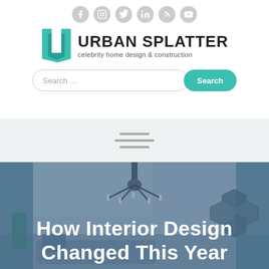[Figure (logo): Urban Splatter logo with teal geometric U-shaped mark and text 'URBAN SPLATTER' with tagline 'celebrity home design & construction']
[Figure (screenshot): Search bar with placeholder 'Search ...' and teal Search button]
[Figure (infographic): Hamburger menu icon with three horizontal lines on light gray/blue background]
[Figure (photo): Interior design photo showing a room with a chandelier, blue/teal decor, hexagonal wall elements, with blue overlay]
How Interior Design Changed This Year